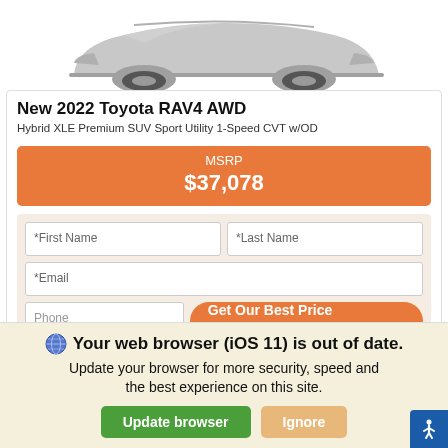[Figure (photo): Partial view of a Toyota RAV4 AWD vehicle (gray/silver), cropped at top]
New 2022 Toyota RAV4 AWD
Hybrid XLE Premium SUV Sport Utility 1-Speed CVT w/OD
MSRP $37,078
*First Name  *Last Name  *Email  Phone  Get Our Best Price
Your web browser (iOS 11) is out of date. Update your browser for more security, speed and the best experience on this site.
Update browser  Ignore